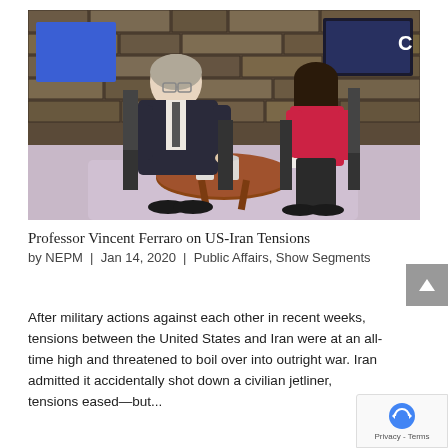[Figure (photo): Two people seated in chairs on a television studio set with a stone wall backdrop and a round wooden coffee table with mugs. An older man in a dark suit on the left faces a younger woman in a red/pink top on the right. A TV monitor is visible in the background top-right corner with a 'C' logo.]
Professor Vincent Ferraro on US-Iran Tensions
by NEPM | Jan 14, 2020 | Public Affairs, Show Segments
After military actions against each other in recent weeks, tensions between the United States and Iran were at an all-time high and threatened to boil over into outright war. Iran admitted it accidentally shot down a civilian jetliner, tensions eased—but...